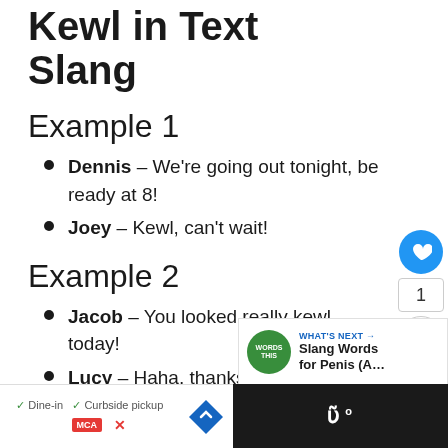Kewl in Text Slang
Example 1
Dennis – We're going out tonight, be ready at 8!
Joey – Kewl, can't wait!
Example 2
Jacob – You looked really kewl today!
Lucy – Haha, thanks. I like th... spell cool.
[Figure (infographic): Social interaction buttons: heart/like button (blue circle), count '1', share button]
[Figure (infographic): What's Next promotional widget: Words This - Slang Words for Penis (A...]
[Figure (infographic): Advertisement bar: Dine-in / Curbside pickup, MCA logo, navigation icon, dark panel with W logo]